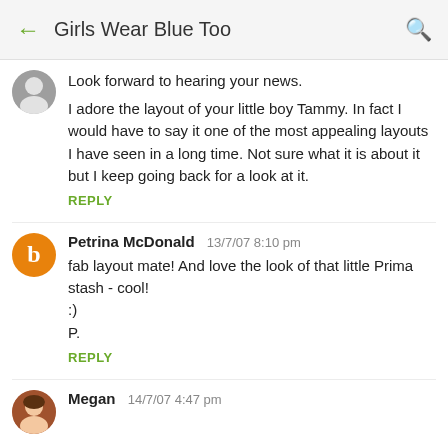Girls Wear Blue Too
Look forward to hearing your news.

I adore the layout of your little boy Tammy. In fact I would have to say it one of the most appealing layouts I have seen in a long time. Not sure what it is about it but I keep going back for a look at it.
REPLY
Petrina McDonald  13/7/07 8:10 pm
fab layout mate! And love the look of that little Prima stash - cool!
:)
P.
REPLY
Megan  14/7/07 4:47 pm